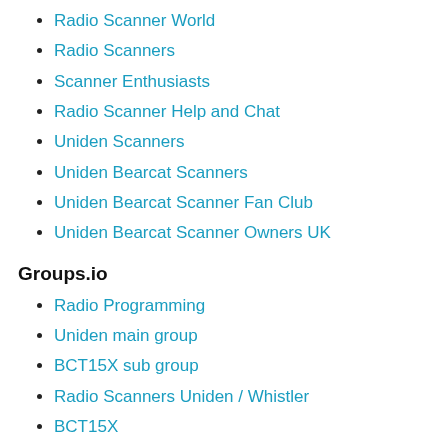Radio Scanner World
Radio Scanners
Scanner Enthusiasts
Radio Scanner Help and Chat
Uniden Scanners
Uniden Bearcat Scanners
Uniden Bearcat Scanner Fan Club
Uniden Bearcat Scanner Owners UK
Groups.io
Radio Programming
Uniden main group
BCT15X sub group
Radio Scanners Uniden / Whistler
BCT15X
Twitter
BCT15X on Twitter